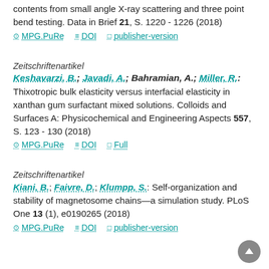contents from small angle X-ray scattering and three point bend testing. Data in Brief 21, S. 1220 - 1226 (2018)
MPG.PuRe   DOI   publisher-version
Zeitschriftenartikel
Keshavarzi, B.; Javadi, A.; Bahramian, A.; Miller, R.: Thixotropic bulk elasticity versus interfacial elasticity in xanthan gum surfactant mixed solutions. Colloids and Surfaces A: Physicochemical and Engineering Aspects 557, S. 123 - 130 (2018)
MPG.PuRe   DOI   Full
Zeitschriftenartikel
Kiani, B.; Faivre, D.; Klumpp, S.: Self-organization and stability of magnetosome chains—a simulation study. PLoS One 13 (1), e0190265 (2018)
MPG.PuRe   DOI   publisher-version